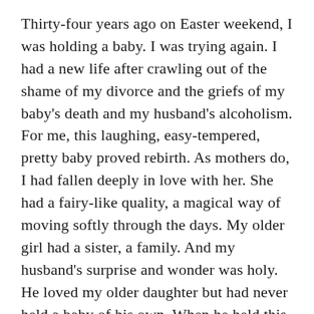Thirty-four years ago on Easter weekend, I was holding a baby. I was trying again. I had a new life after crawling out of the shame of my divorce and the griefs of my baby's death and my husband's alcoholism. For me, this laughing, easy-tempered, pretty baby proved rebirth. As mothers do, I had fallen deeply in love with her. She had a fairy-like quality, a magical way of moving softly through the days. My older girl had a sister, a family. And my husband's surprise and wonder was holy. He loved my older daughter but had never held a baby of his own. When he held this little girl, you could feel his shock and joy at such tenderness. He had never imagined such love.